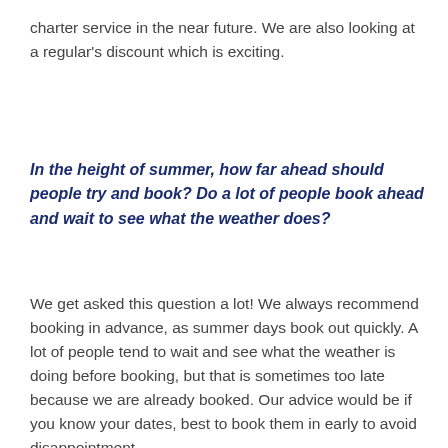charter service in the near future. We are also looking at a regular's discount which is exciting.
In the height of summer, how far ahead should people try and book? Do a lot of people book ahead and wait to see what the weather does?
We get asked this question a lot! We always recommend booking in advance, as summer days book out quickly. A lot of people tend to wait and see what the weather is doing before booking, but that is sometimes too late because we are already booked. Our advice would be if you know your dates, best to book them in early to avoid disappointment.